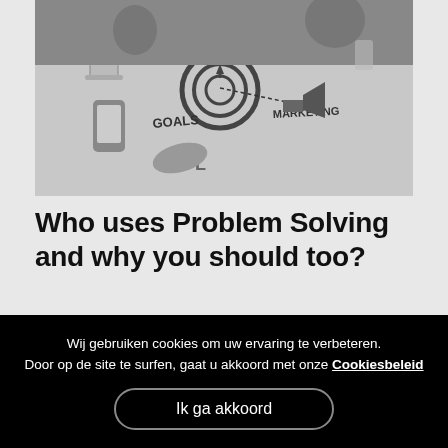[Figure (photo): Black and white overhead photo of people at a table with marketing/planning documents showing icons for GOALS, MARKETING, and SOLUTIONS]
Who uses Problem Solving and why you should too?
[Figure (photo): Dark/black background image with a small glowing person icon in the center]
Wij gebruiken cookies om uw ervaring te verbeteren. Door op de site te surfen, gaat u akkoord met onze Cookiesbeleid
Ik ga akkoord